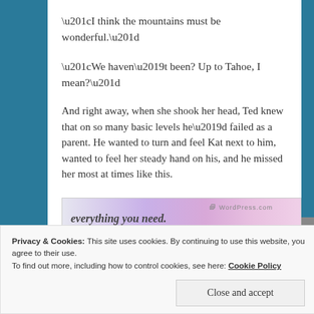“I think the mountains must be wonderful.”
“We haven’t been? Up to Tahoe, I mean?”
And right away, when she shook her head, Ted knew that on so many basic levels he’d failed as a parent. He wanted to turn and feel Kat next to him, wanted to feel her steady hand on his, and he missed her most at times like this.
[Figure (other): WordPress.com advertisement banner with text 'everything you need.' on a pink/purple gradient background with WordPress.com logo]
Privacy & Cookies: This site uses cookies. By continuing to use this website, you agree to their use.
To find out more, including how to control cookies, see here: Cookie Policy
Close and accept